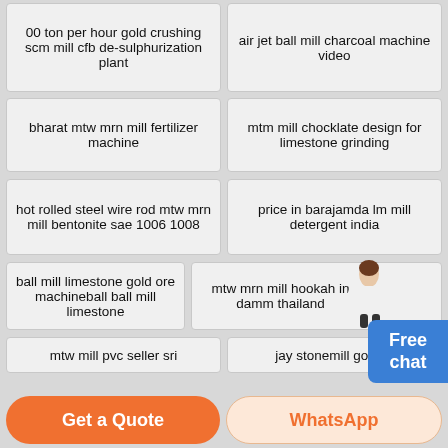00 ton per hour gold crushing scm mill cfb de-sulphurization plant
air jet ball mill charcoal machine video
bharat mtw mrn mill fertilizer machine
mtm mill chocklate design for limestone grinding
hot rolled steel wire rod mtw mrn mill bentonite sae 1006 1008
price in barajamda lm mill detergent india
ball mill limestone gold ore machineball ball mill limestone
mtw mrn mill hookah in damm thailand
mtw mill pvc seller sri
jay stonemill google
low price high impact value forged grinding ball used by lm mill hookah
hammer mill cfb de-sulphurization golf victor ny
mtw mill caco3 calcite for granite crushing process
scm mill clay 3d models to print
manufacturers lm mill activated carbon grinding in mexico
commission agents of ball mill paint
[Figure (illustration): Free chat widget with person figure in white shirt]
Get a Quote
WhatsApp